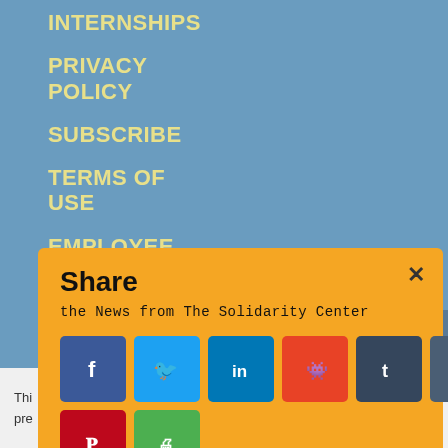INTERNSHIPS
PRIVACY POLICY
SUBSCRIBE
TERMS OF USE
EMPLOYEE ACCESS
[Figure (screenshot): Share modal overlay on orange background with social sharing buttons: Facebook, Twitter, LinkedIn, Reddit, Tumblr, Digg, Evernote, Pinterest, Print]
Thi ... e'll pre ... sh.